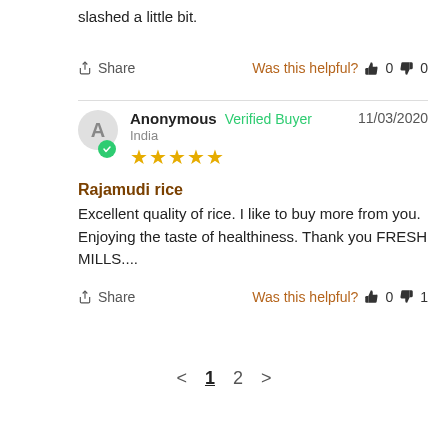slashed a little bit.
↪ Share   Was this helpful? 👍 0 👎 0
Anonymous  Verified Buyer  11/03/2020  India  ★★★★★
Rajamudi rice
Excellent quality of rice. I like to buy more from you. Enjoying the taste of healthiness. Thank you FRESH MILLS....
↪ Share   Was this helpful? 👍 0 👎 1
< 1 2 >